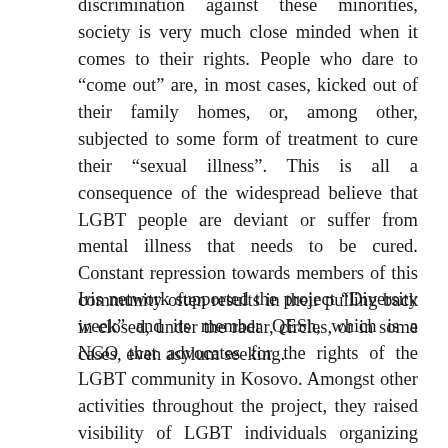discrimination against these minorities, society is very much close minded when it comes to their rights. People who dare to “come out” are, in most cases, kicked out of their family homes, or, among other, subjected to some form of treatment to cure their “sexual illness”. This is all a consequence of the widespread believe that LGBT people are deviant or suffer from mental illness that needs to be cured. Constant repression towards members of this community often results in their pulling back in closed, under the radar, circles, or in some cases, even asylum seeking.
Iris network supported the project “Diversity week” and its member QESh, which is a NGO that advocates for the rights of the LGBT community in Kosovo. Amongst other activities throughout the project, they raised visibility of LGBT individuals organizing concert, art exhibitions, monologue performances, open panel discussions, workshops with experts, health activities, as well as film and documentary screenings, including a documentary currently in production by QESh. People from various backgrounds including artists, youth, university students, health care providers, and experts